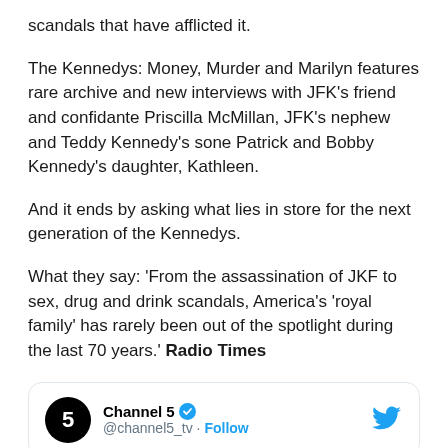scandals that have afflicted it.
The Kennedys: Money, Murder and Marilyn features rare archive and new interviews with JFK's friend and confidante Priscilla McMillan, JFK's nephew and Teddy Kennedy's sone Patrick and Bobby Kennedy's daughter, Kathleen.
And it ends by asking what lies in store for the next generation of the Kennedys.
What they say: 'From the assassination of JKF to sex, drug and drink scandals, America's 'royal family' has rarely been out of the spotlight during the last 70 years.' Radio Times
[Figure (screenshot): Twitter/X tweet card for Channel 5 (@channel5_tv) with a Follow button]